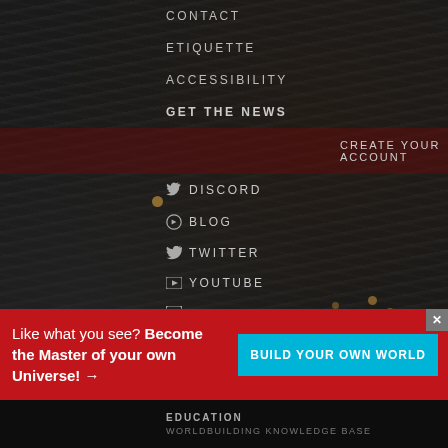[Figure (screenshot): Dark rocky textured website background with navigation menu overlay]
CONTACT
ETIQUETTE
ACCESSIBILITY
GET THE NEWS
CREATE YOUR ACCOUNT
DISCORD
BLOG
TWITTER
YOUTUBE
TWITCH
FACEBOOK
TUMBLR
Like what you see? Become the Master of your own Universe! →
BUILD YOUR OWN WORLD
EDUCATION
WORLDBUILDING KNOWLEDGE BASE